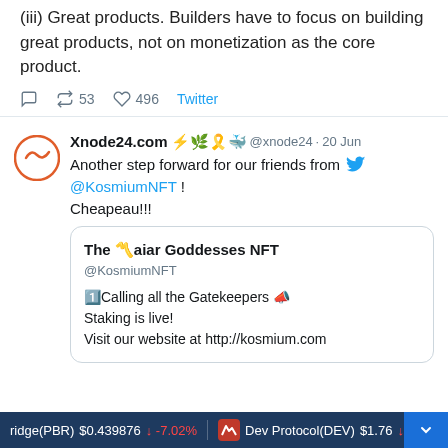(iii) Great products. Builders have to focus on building great products, not on monetization as the core product.
53 retweets  496 likes  Twitter
Xnode24.com ⚡🌿🎗️🐳 @xnode24 · 20 Jun
Another step forward for our friends from 🐦 @KosmiumNFT !
Cheapeau!!!
The 〽️aiar Goddesses NFT
@KosmiumNFT
1️⃣Calling all the Gatekeepers 📣
Staking is live!
Visit our website at http://kosmium.com
ridge(PBR) $0.439876 ↓ -7.02%   Dev Protocol(DEV) $1.76 ↓ -16...